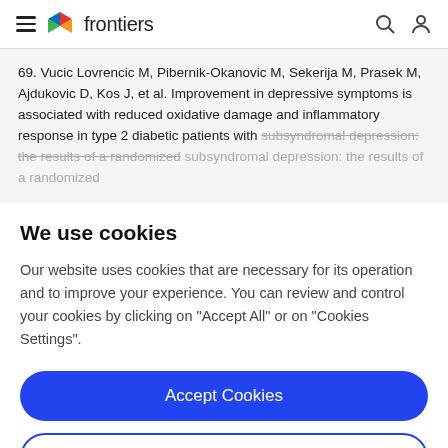frontiers
69. Vucic Lovrencic M, Pibernik-Okanovic M, Sekerija M, Prasek M, Ajdukovic D, Kos J, et al. Improvement in depressive symptoms is associated with reduced oxidative damage and inflammatory response in type 2 diabetic patients with subsyndromal depression: the results of a randomized
We use cookies
Our website uses cookies that are necessary for its operation and to improve your experience. You can review and control your cookies by clicking on "Accept All" or on "Cookies Settings".
Accept Cookies
Cookies Settings